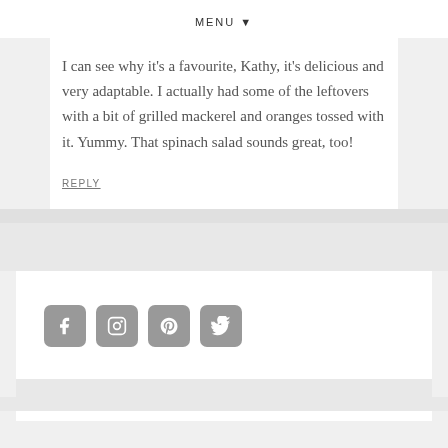MENU ▼
I can see why it's a favourite, Kathy, it's delicious and very adaptable. I actually had some of the leftovers with a bit of grilled mackerel and oranges tossed with it. Yummy. That spinach salad sounds great, too!
REPLY
[Figure (infographic): Social media icon buttons: Facebook, Instagram, Pinterest, Twitter — gray rounded squares with white icons]